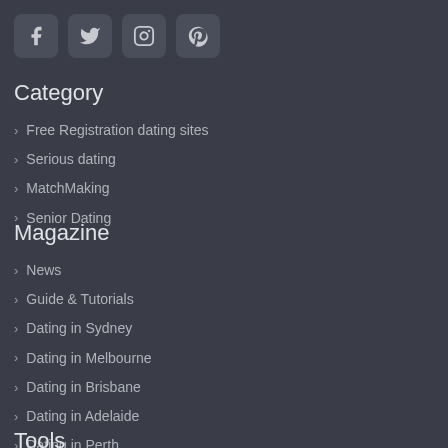[Figure (other): Social media icons: Facebook, Twitter, Instagram, Pinterest in rounded square boxes]
Category
Free Registration dating sites
Serious dating
MatchMaking
Senior Dating
Magazine
News
Guide & Tutorials
Dating in Sydney
Dating in Melbourne
Dating in Brisbane
Dating in Adelaide
Dating in Perth
Dating in Gold Coast
Tools